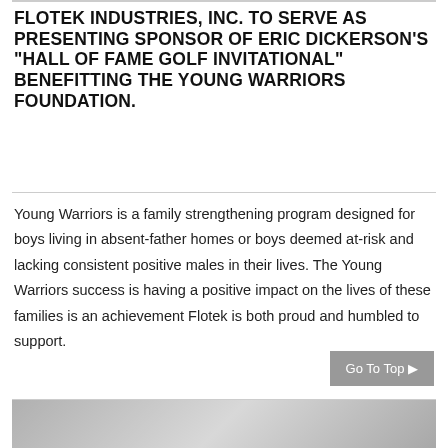FLOTEK INDUSTRIES, INC. TO SERVE AS PRESENTING SPONSOR OF ERIC DICKERSON'S "HALL OF FAME GOLF INVITATIONAL" BENEFITTING THE YOUNG WARRIORS FOUNDATION.
Young Warriors is a family strengthening program designed for boys living in absent-father homes or boys deemed at-risk and lacking consistent positive males in their lives. The Young Warriors success is having a positive impact on the lives of these families is an achievement Flotek is both proud and humbled to support.